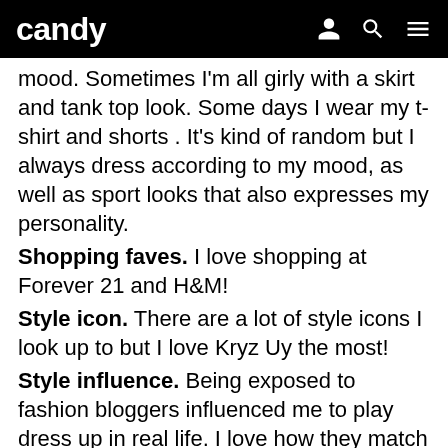candy
mood. Sometimes I'm all girly with a skirt and tank top look. Some days I wear my t-shirt and shorts . It's kind of random but I always dress according to my mood, as well as sport looks that also expresses my personality.
Shopping faves. I love shopping at Forever 21 and H&M!
Style icon. There are a lot of style icons I look up to but I love Kryz Uy the most!
Style influence. Being exposed to fashion bloggers influenced me to play dress up in real life. I love how they match their outfits and |